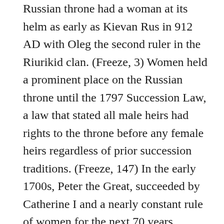Russian throne had a woman at its helm as early as Kievan Rus in 912 AD with Oleg the second ruler in the Riurikid clan. (Freeze, 3) Women held a prominent place on the Russian throne until the 1797 Succession Law, a law that stated all male heirs had rights to the throne before any female heirs regardless of prior succession traditions. (Freeze, 147) In the early 1700s, Peter the Great, succeeded by Catherine I and a nearly constant rule of women for the next 70 years, started a movement to include upper-class women in academies. The creation of Smolny Institute in Petersburg in the late eighteenth century by Catherine the Great for the ‘daughters of the upper classes’ furthered the inclusion of women in education. (Stites, xii) On the one hand, while there was a theme of strong female stewardship on the Russian throne, this was over a Russian court where the nobility existed